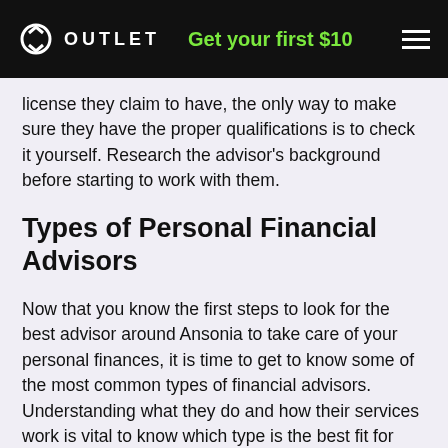OUTLET  Get your first $10
license they claim to have, the only way to make sure they have the proper qualifications is to check it yourself. Research the advisor's background before starting to work with them.
Types of Personal Financial Advisors
Now that you know the first steps to look for the best advisor around Ansonia to take care of your personal finances, it is time to get to know some of the most common types of financial advisors. Understanding what they do and how their services work is vital to know which type is the best fit for you.